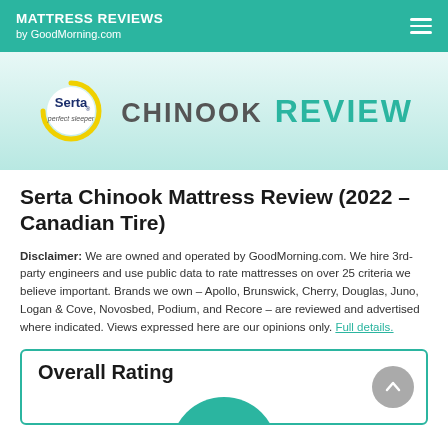MATTRESS REVIEWS by GoodMorning.com
[Figure (logo): Serta Chinook Review banner with Serta circular logo (navy and yellow), CHINOOK in dark gray, and REVIEW in teal]
Serta Chinook Mattress Review (2022 – Canadian Tire)
Disclaimer: We are owned and operated by GoodMorning.com. We hire 3rd-party engineers and use public data to rate mattresses on over 25 criteria we believe important. Brands we own – Apollo, Brunswick, Cherry, Douglas, Juno, Logan & Cove, Novosbed, Podium, and Recore – are reviewed and advertised where indicated. Views expressed here are our opinions only. Full details.
Overall Rating